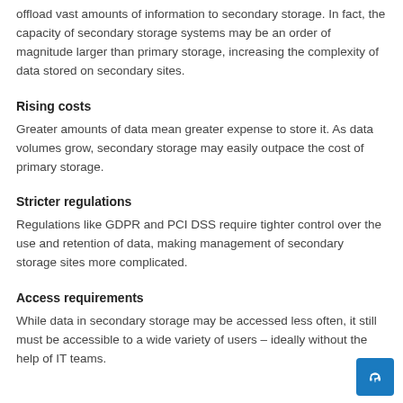offload vast amounts of information to secondary storage. In fact, the capacity of secondary storage systems may be an order of magnitude larger than primary storage, increasing the complexity of data stored on secondary sites.
Rising costs
Greater amounts of data mean greater expense to store it. As data volumes grow, secondary storage may easily outpace the cost of primary storage.
Stricter regulations
Regulations like GDPR and PCI DSS require tighter control over the use and retention of data, making management of secondary storage sites more complicated.
Access requirements
While data in secondary storage may be accessed less often, it still must be accessible to a wide variety of users – ideally without the help of IT teams.